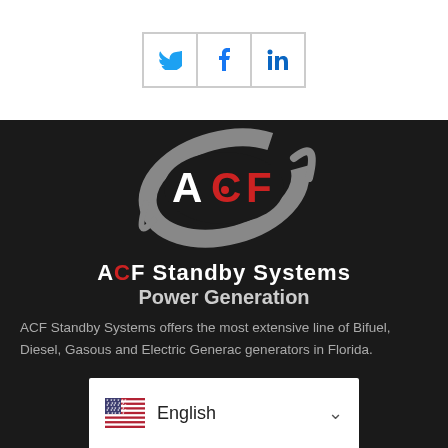[Figure (other): Social media share icons: Twitter (bird icon), Facebook (f), LinkedIn (in), displayed as bordered square buttons]
[Figure (logo): ACF Standby Systems logo: gray elliptical swoosh with ACF letters (A and F in white, C in red with a dot) inside, on dark background. Below: 'ACF Standby Systems Power Generation' in white bold text.]
ACF Standby Systems offers the most extensive line of Bifuel, Diesel, Gasous and Electric Generac generators in Florida.
[Figure (other): Language selector bar showing US flag and 'English' text with a dropdown chevron]